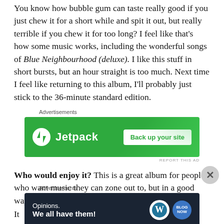You know how bubble gum can taste really good if you just chew it for a short while and spit it out, but really terrible if you chew it for too long? I feel like that's how some music works, including the wonderful songs of Blue Neighbourhood (deluxe). I like this stuff in short bursts, but an hour straight is too much. Next time I feel like returning to this album, I'll probably just stick to the 36-minute standard edition.
[Figure (other): Jetpack advertisement banner with green background: Jetpack logo and 'Back up your site' button]
Who would enjoy it? This is a great album for people who want music they can zone out to, but in a good way. It... (cut off)
[Figure (other): WordPress 'Opinions. We all have them!' advertisement banner with dark navy background and WordPress logo]